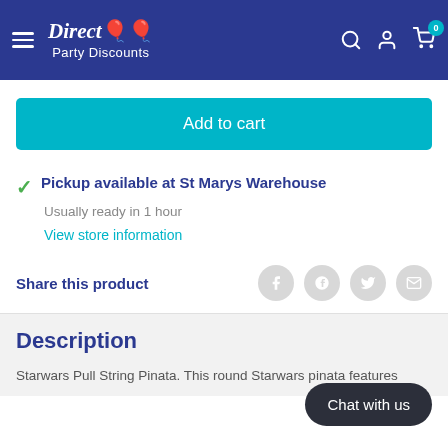Direct Party Discounts
Add to cart
Pickup available at St Marys Warehouse
Usually ready in 1 hour
View store information
Share this product
Description
Starwars Pull String Pinata. This round Starwars pinata features